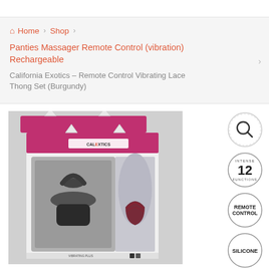Home › Shop ›
Panties Massager Remote Control (vibration) Rechargeable
California Exotics – Remote Control Vibrating Lace Thong Set (Burgundy)
[Figure (photo): Product packaging photo showing CalExotics Remote Control Vibrating Lace Thong Set (Burgundy) box with vibrator and burgundy lace thong visible]
[Figure (infographic): Four circular badge icons: magnifying glass/zoom, '12 INTENSE FUNCTIONS', 'REMOTE CONTROL', 'SILICONE']